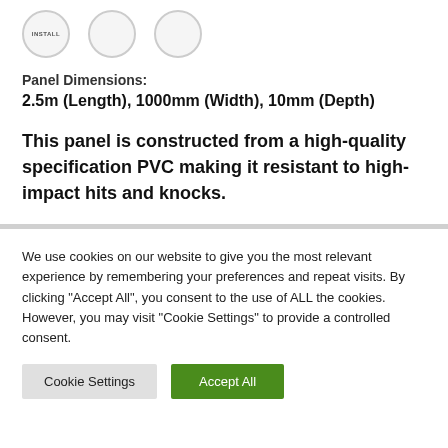[Figure (illustration): Partial circles row with icons at top of page, showing 'INSTALL' label on first circle and two more empty circles]
Panel Dimensions:
2.5m (Length), 1000mm (Width), 10mm (Depth)
This panel is constructed from a high-quality specification PVC making it resistant to high-impact hits and knocks.
We use cookies on our website to give you the most relevant experience by remembering your preferences and repeat visits. By clicking "Accept All", you consent to the use of ALL the cookies. However, you may visit "Cookie Settings" to provide a controlled consent.